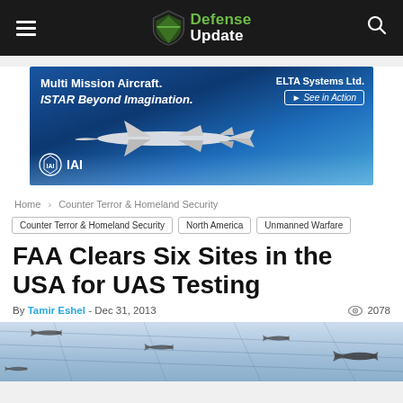Defense Update
[Figure (illustration): IAI ELTA Systems advertisement banner: Multi Mission Aircraft. ISTAR Beyond Imagination. UAV silhouette flying over clouds. ELTA Systems Ltd. See in Action button.]
Home › Counter Terror & Homeland Security
Counter Terror & Homeland Security  North America  Unmanned Warfare
FAA Clears Six Sites in the USA for UAS Testing
By Tamir Eshel - Dec 31, 2013  2078
[Figure (photo): Aerial photo showing multiple UAVs/drones flying in formation over cloudy sky with grid-like trajectory lines visible]